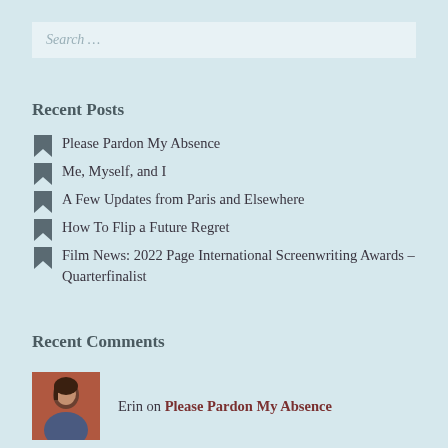Search …
Recent Posts
Please Pardon My Absence
Me, Myself, and I
A Few Updates from Paris and Elsewhere
How To Flip a Future Regret
Film News: 2022 Page International Screenwriting Awards – Quarterfinalist
Recent Comments
Erin on Please Pardon My Absence